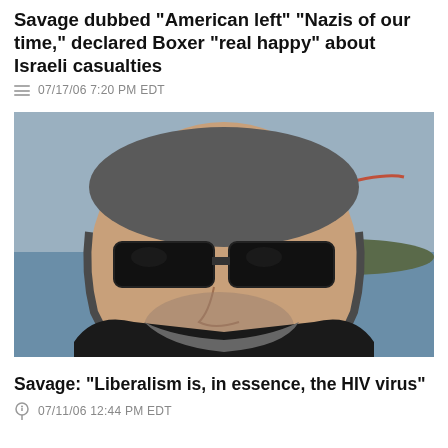Savage dubbed 'American left' 'Nazis of our time,' declared Boxer "real happy" about Israeli casualties
07/17/06 7:20 PM EDT
[Figure (photo): Photo of a middle-aged man with gray hair, beard, and dark sunglasses smiling, with what appears to be the Golden Gate Bridge and water visible in the background]
Savage: "Liberalism is, in essence, the HIV virus"
07/11/06 12:44 PM EDT